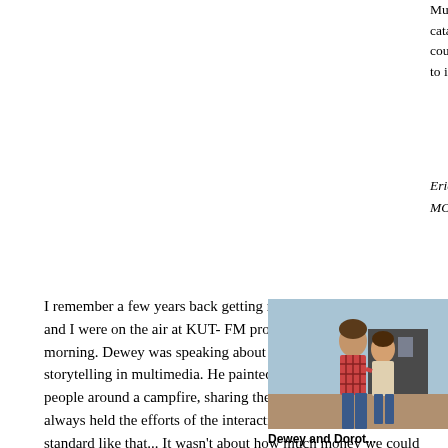Museum, and S... catalyzing colla... could easily fal... to inspire us all
Eric Gould & J... MONKEYmedi...
I remember a few years back getting ready for SXSW...Dewey and I were on the air at KUT-FM promoting the festival one morning. Dewey was speaking about the importance of storytelling in multimedia. He painted a timeless image of people around a campfire, sharing their imagination. Dewey always held the efforts of the interactive community to a higher standard like that... It wasn't about how much money we could make, or how many awards we could get- but about how many lives we could touch. Everyone who has met or worked with Dewey (and there's quite a few), still benefit from the example he gave us- humility, humor, hard work, and boundless optimism.
[Figure (photo): Photo of Dewey and Dorothy standing outdoors]
Dewey and Dorot...